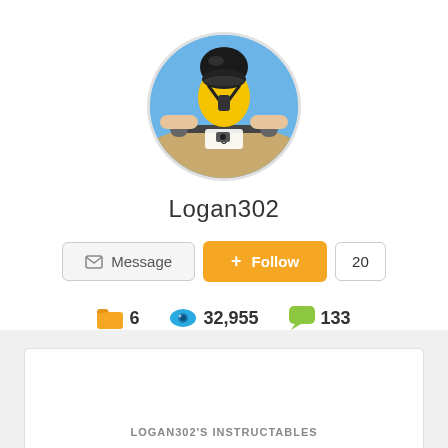[Figure (photo): Circular profile photo of a mountain biker wearing yellow jersey and helmet, viewed from camera mounted on handlebars, with blue sky background]
Logan302
Message  +Follow  20
6  32,955  133
LOGAN302'S INSTRUCTABLES